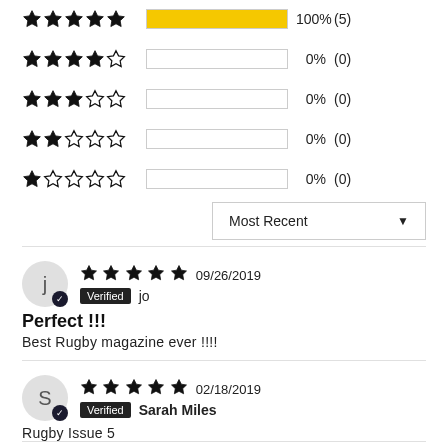[Figure (infographic): Star rating distribution bars: 5-star 100% (5), 4-star 0% (0), 3-star 0% (0), 2-star 0% (0), 1-star 0% (0)]
Most Recent (dropdown)
j — Verified jo — 09/26/2019 — Perfect !!! — Best Rugby magazine ever !!!!
S — Verified Sarah Miles — 02/18/2019 — Rugby Issue 5